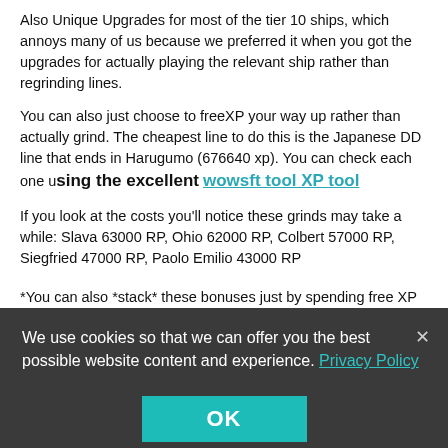Also Unique Upgrades for most of the tier 10 ships, which annoys many of us because we preferred it when you got the upgrades for actually playing the relevant ship rather than regrinding lines.
You can also just choose to freeXP your way up rather than actually grind. The cheapest line to do this is the Japanese DD line that ends in Harugumo (676640 xp). You can check each one using the excellent wowsft tool XP tool
If you look at the costs you'll notice these grinds may take a while: Slava 63000 RP, Ohio 62000 RP, Colbert 57000 RP, Siegfried 47000 RP, Paolo Emilio 43000 RP
*You can also *stack* these bonuses just by spending free XP without actually buying the ships if you're playing the long game.
We use cookies so that we can offer you the best possible website content and experience. Privacy Policy
OK